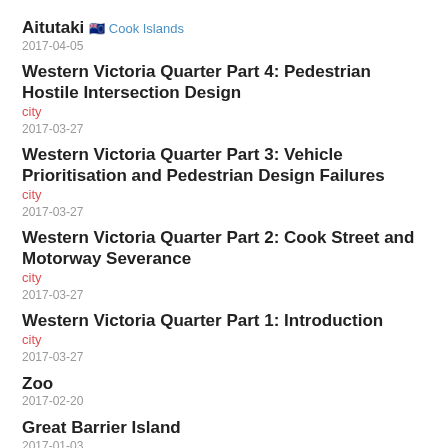Aitutaki
Cook Islands
2017-04-05
Western Victoria Quarter Part 4: Pedestrian Hostile Intersection Design
city
2017-03-27
Western Victoria Quarter Part 3: Vehicle Prioritisation and Pedestrian Design Failures
city
2017-03-27
Western Victoria Quarter Part 2: Cook Street and Motorway Severance
city
2017-03-27
Western Victoria Quarter Part 1: Introduction
city
2017-03-27
Zoo
2017-02-20
Great Barrier Island
2017-01-03